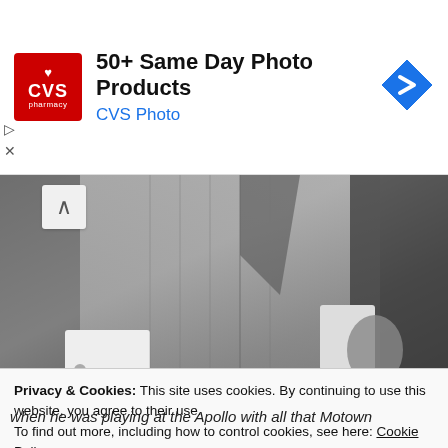[Figure (infographic): CVS Pharmacy advertisement banner with red CVS logo, text '50+ Same Day Photo Products' and 'CVS Photo' in blue, and a blue diamond-shaped navigation arrow icon on the right]
[Figure (photo): Black and white photograph showing torsos of two people wearing dress jackets with white shirt cuffs visible]
Privacy & Cookies: This site uses cookies. By continuing to use this website, you agree to their use.
To find out more, including how to control cookies, see here: Cookie Policy
Close and accept
when he was playing at the Apollo with all that Motown